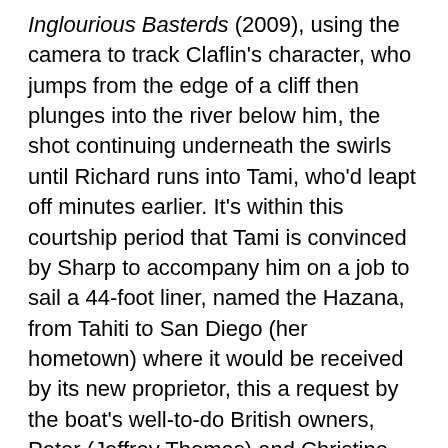Inglourious Basterds (2009), using the camera to track Claflin's character, who jumps from the edge of a cliff then plunges into the river below him, the shot continuing underneath the swirls until Richard runs into Tami, who'd leapt off minutes earlier. It's within this courtship period that Tami is convinced by Sharp to accompany him on a job to sail a 44-foot liner, named the Hazana, from Tahiti to San Diego (her hometown) where it would be received by its new proprietor, this a request by the boat's well-to-do British owners, Peter (Jeffrey Thomas) and Christine Compton (Elizabeth Hawthorne). This leads to the beautifully chaotic centerpiece storm, which occurs around halfway through the twosome's 4,000-mile cross-Pacific trek. Brilliantly recreated via some stunning state-of-the-art digital effects, headed by VFX supervisor Dadi